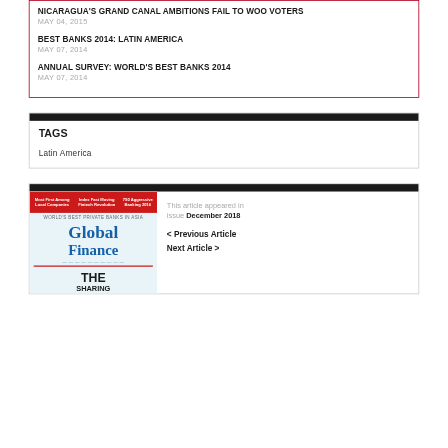NICARAGUA'S GRAND CANAL AMBITIONS FAIL TO WOO VOTERS
MAY 04, 2015
BEST BANKS 2014: LATIN AMERICA
MAY 07, 2014
ANNUAL SURVEY: WORLD'S BEST BANKS 2014
MAY 07, 2014
TAGS
Latin America
[Figure (other): Global Finance magazine cover for December 2018 issue, showing 'THE SHARING' title, with red banner at top]
This article appeared in issue December 2018
< Previous Article
Next Article >